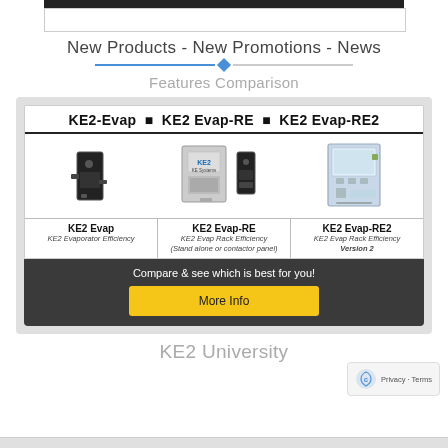New Products - New Promotions - News
Features Comparison
[Figure (illustration): Product comparison card showing KE2-Evap, KE2 Evap-RE, and KE2 Evap-RE2 devices with product images and names]
Compare & see which is best for you!
More Info
KE2 University